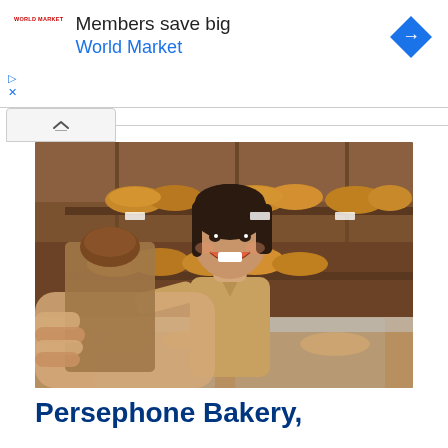[Figure (infographic): World Market advertisement banner: 'Members save big / World Market' with logo and blue diamond direction icon]
[Figure (photo): A smiling female bakery worker handing a paper bag of bread over the counter to a customer, with shelves of bread loaves visible behind her]
Persephone Bakery, Jackson WY